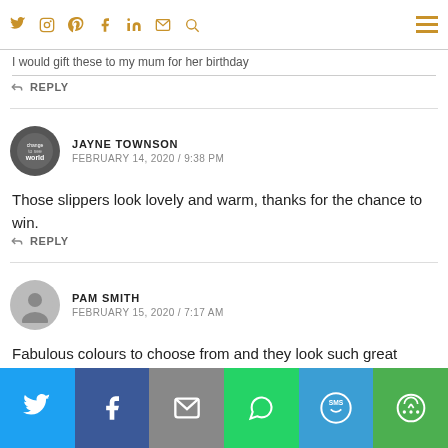Navigation bar with social icons: Twitter, Instagram, Pinterest, Facebook, LinkedIn, Email, Search, and hamburger menu
I would gift these to my mum for her birthday
↩ REPLY
JAYNE TOWNSON
FEBRUARY 14, 2020 / 9:38 PM
Those slippers look lovely and warm, thanks for the chance to win.
↩ REPLY
PAM SMITH
FEBRUARY 15, 2020 / 7:17 AM
Fabulous colours to choose from and they look such great quality
Share bar: Twitter, Facebook, Email, WhatsApp, SMS, More